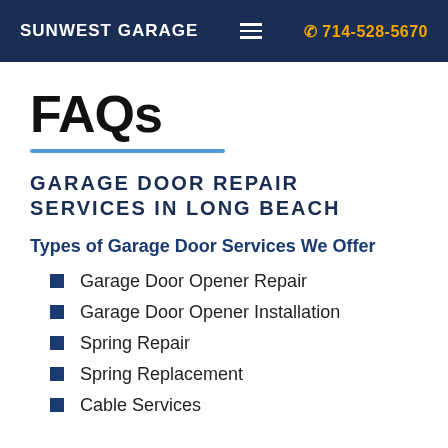SUNWEST GARAGE  ☰  714-528-5670
FAQs
GARAGE DOOR REPAIR SERVICES IN LONG BEACH
Types of Garage Door Services We Offer
Garage Door Opener Repair
Garage Door Opener Installation
Spring Repair
Spring Replacement
Cable Services